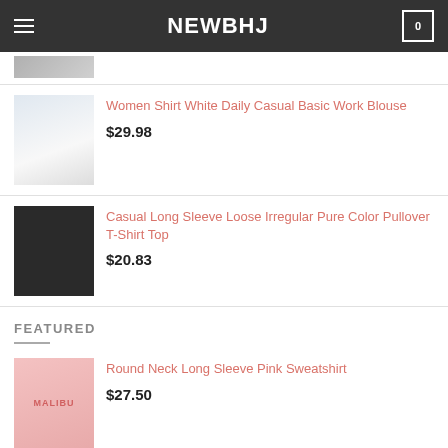NEWBHJ
[Figure (photo): Partial product image at top, cropped]
[Figure (photo): Women's white shirt product photo]
Women Shirt White Daily Casual Basic Work Blouse
$29.98
[Figure (photo): Casual black long sleeve t-shirt product photo]
Casual Long Sleeve Loose Irregular Pure Color Pullover T-Shirt Top
$20.83
FEATURED
[Figure (photo): Pink Malibu sweatshirt product photo]
Round Neck Long Sleeve Pink Sweatshirt
$27.50
[Figure (photo): Flying Bird Mountain Print Hooded Sweater product photo, partially visible]
Flying Bird Mountain Print Hooded Sweater